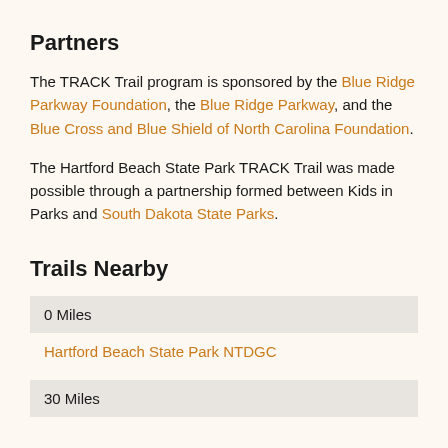Partners
The TRACK Trail program is sponsored by the Blue Ridge Parkway Foundation, the Blue Ridge Parkway, and the Blue Cross and Blue Shield of North Carolina Foundation.
The Hartford Beach State Park TRACK Trail was made possible through a partnership formed between Kids in Parks and South Dakota State Parks.
Trails Nearby
| 0 Miles |
| Hartford Beach State Park NTDGC |
| 30 Miles |